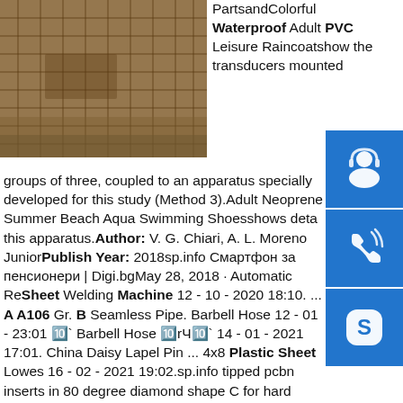[Figure (photo): Photo of what appears to be a construction or industrial material, showing mesh/grid structure with orange/brown tones]
PartsandColorful Waterproof Adult PVC Leisure Raincoatshow the transducers mounted groups of three, coupled to an apparatus specially developed for this study (Method 3).Adult Neoprene Summer Beach Aqua Swimming Shoesshows details of this apparatus.Author: V. G. Chiari, A. L. Moreno JuniorPublish Year: 2018sp.info Смартфон за пенсионери | Digi.bgMay 28, 2018 · Automatic Rebar Sheet Welding Machine 12 - 10 - 2020 18:10. ... A A106 Gr. B Seamless Pipe. Barbell Hose 12 - 01 - 23:01 🔟` Barbell Hose 🔟rЧ🔟` 14 - 01 - 2021 17:01. China Daisy Lapel Pin ... 4x8 Plastic Sheet Lowes 16 - 02 - 2021 19:02.sp.info tipped pcbn inserts in 80 degree diamond shape C for hard ...tipped pcbn inserts in 80 degree diamond shape C for hard turning ferrous metals of cast iron and hardened steel, the cbn insert cutting edges are made with polycrystalline cubic boron nitride, indexable
[Figure (other): Blue square icon with headset/customer service symbol]
[Figure (other): Blue square icon with phone/call symbol]
[Figure (other): Blue square icon with Skype logo symbol]